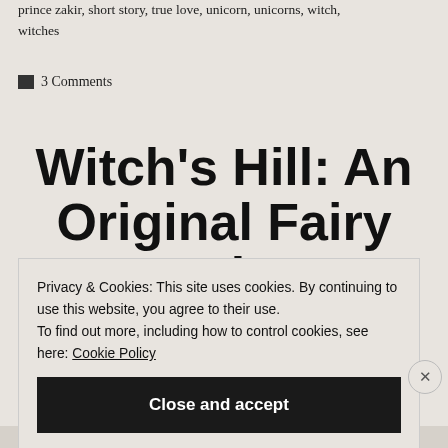prince zakir, short story, true love, unicorn, unicorns, witch, witches
3 Comments
Witch's Hill: An Original Fairy Tale
Privacy & Cookies: This site uses cookies. By continuing to use this website, you agree to their use. To find out more, including how to control cookies, see here: Cookie Policy
Close and accept